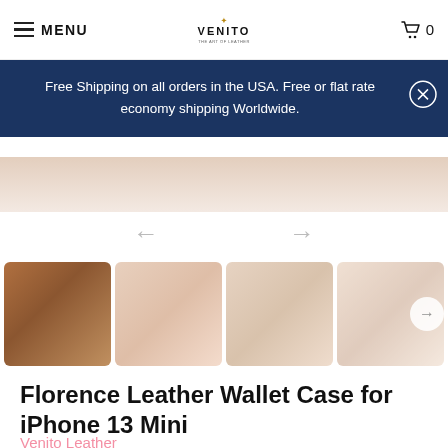MENU | VENITO | Cart 0
Free Shipping on all orders in the USA. Free or flat rate economy shipping Worldwide.
[Figure (photo): Thumbnail strip of Florence Leather Wallet Case for iPhone 13 Mini in brown leather, showing 4 product photos]
Florence Leather Wallet Case for iPhone 13 Mini
Venito Leather